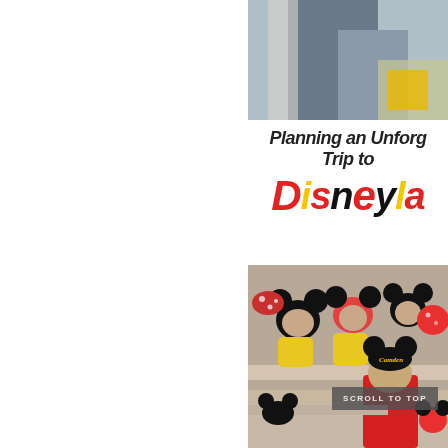[Figure (photo): Top photo showing partial view of a person in dark clothing holding something with yellow, at Disneyland]
Planning an Unforgettable Trip to Disneyland
[Figure (photo): Photo of a child wearing Mickey Mouse ears hat with 'Camden' embroidered on it, looking at a display of Mickey and Minnie Mouse plush toys in a Disney store]
SCROLL TO TOP